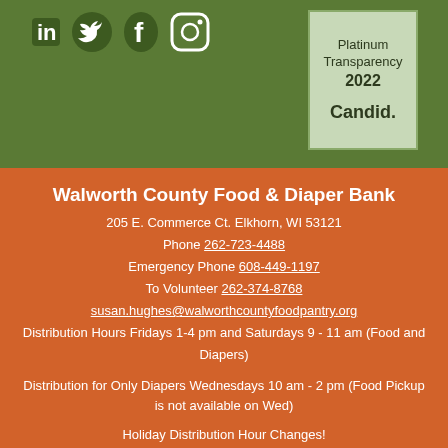[Figure (logo): Candid Platinum Transparency 2022 badge on green background with social media icons (LinkedIn, Twitter, Facebook, Instagram)]
Walworth County Food & Diaper Bank
205 E. Commerce Ct. Elkhorn, WI 53121
Phone 262-723-4488
Emergency Phone 608-449-1197
To Volunteer 262-374-8768
susan.hughes@walworthcountyfoodpantry.org
Distribution Hours Fridays 1-4 pm and Saturdays 9 - 11 am (Food and Diapers)
Distribution for Only Diapers Wednesdays 10 am - 2 pm (Food Pickup is not available on Wed)
Holiday Distribution Hour Changes!
Closed on Friday November 25, 2022 (Day After Thanksgiving)
If you are unable to use any aspect of this website because of a disability please call (262) 723-4488 and we will provide you with